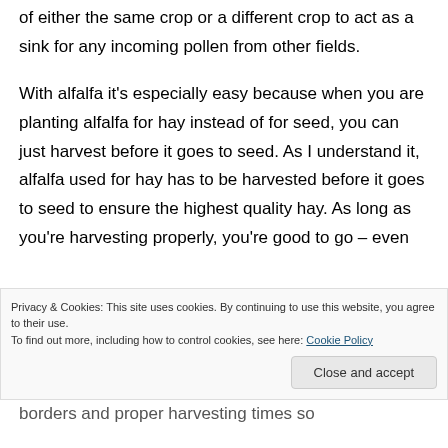of either the same crop or a different crop to act as a sink for any incoming pollen from other fields.
With alfalfa it's especially easy because when you are planting alfalfa for hay instead of for seed, you can just harvest before it goes to seed. As I understand it, alfalfa used for hay has to be harvested before it goes to seed to ensure the highest quality hay. As long as you're harvesting properly, you're good to go – even
Privacy & Cookies: This site uses cookies. By continuing to use this website, you agree to their use.
To find out more, including how to control cookies, see here: Cookie Policy
borders and proper harvesting times so